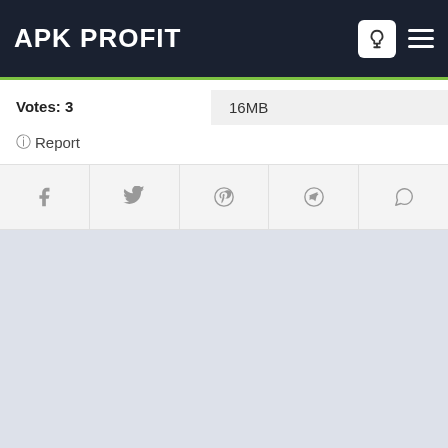APK PROFIT
Votes: 3
16MB
Report
[Figure (infographic): Social share buttons row: Facebook, Twitter, Pinterest, Telegram, WhatsApp]
[Figure (other): Light grey/blue empty content area below share buttons]